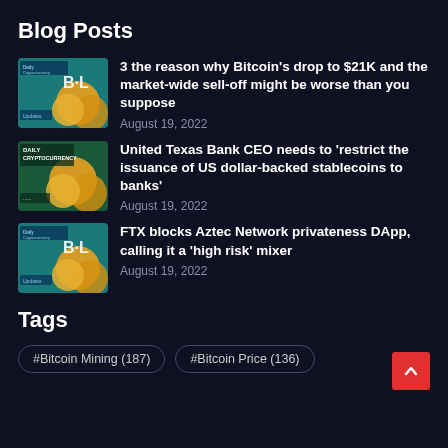Blog Posts
[Figure (illustration): Thumbnail image for blog post 1 - Daily Cryptocurrency Updates with Bitcoin coins and B-L logo]
3 the reason why Bitcoin's drop to $21K and the market-wide sell-off might be worse than you suppose
August 19, 2022
[Figure (illustration): Thumbnail image for blog post 2 - Daily Cryptocurrency with Bitcoin coins]
United Texas Bank CEO needs to 'restrict the issuance of US dollar-backed stablecoins to banks'
August 19, 2022
[Figure (illustration): Thumbnail image for blog post 3 - Daily Cryptocurrency Updates with Bitcoin coins and B-L logo]
FTX blocks Aztec Network privateness DApp, calling it a 'high risk' mixer
August 19, 2022
Tags
#Bitcoin Mining (187)
#Bitcoin Price (136)